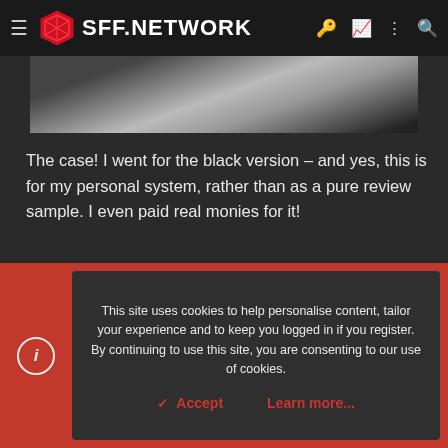SFF.NETWORK
[Figure (photo): Partial view of a black PC case / hardware component on a light background]
The case! I went for the black version – and yes, this is for my personal system, rather than as a pure review sample. I even paid real monies for it!
The logo is resplendent in shiny silver, standing out boldly from the black anodised finish of the aluminium shell.
This site uses cookies to help personalise content, tailor your experience and to keep you logged in if you register. By continuing to use this site, you are consenting to our use of cookies.
Accept   Learn more...